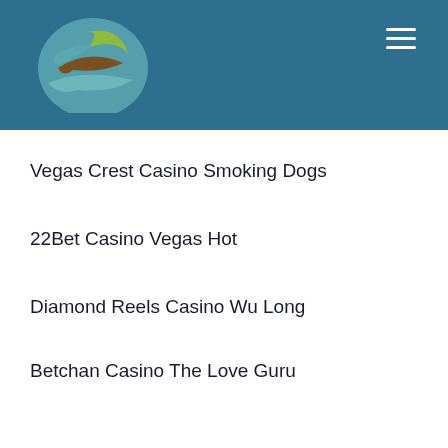[Figure (logo): Circular logo with teal, green, and brown wave/leaf design on dark teal background header]
Vegas Crest Casino Smoking Dogs
22Bet Casino Vegas Hot
Diamond Reels Casino Wu Long
Betchan Casino The Love Guru